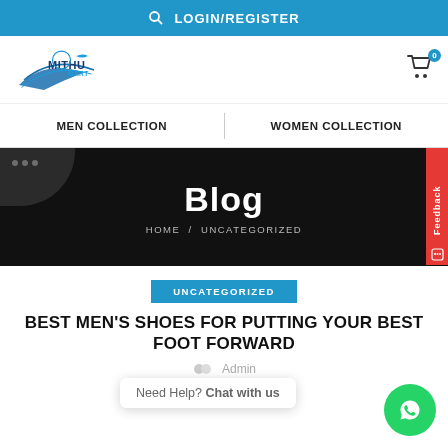LOGIN/REGISTER
[Figure (logo): Mithu Mart logo with stylized fish/bird graphic]
MEN COLLECTION   WOMEN COLLECTION
Blog
HOME / UNCATEGORIZED
UNCATEGORIZED
BEST MEN'S SHOES FOR PUTTING YOUR BEST FOOT FORWARD
Admin
Need Help? Chat with us